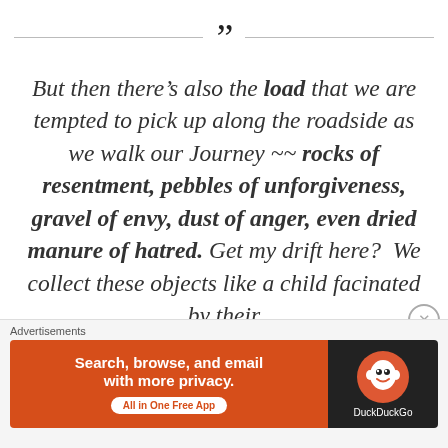” But then there’s also the load that we are tempted to pick up along the roadside as we walk our Journey ~~ rocks of resentment, pebbles of unforgiveness, gravel of envy, dust of anger, even dried manure of hatred. Get my drift here?  We collect these objects like a child facinated by their
Advertisements